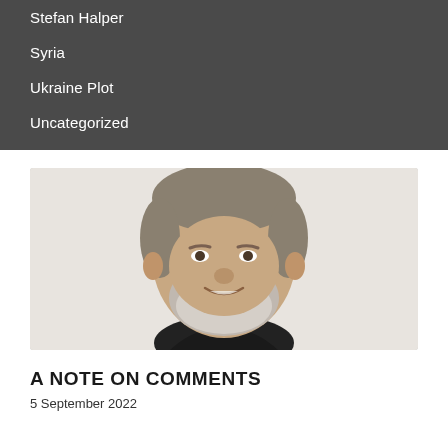Stefan Halper
Syria
Ukraine Plot
Uncategorized
[Figure (photo): Portrait photo of a middle-aged man with grey beard and hair, smiling, wearing a dark jacket, against a light background.]
A NOTE ON COMMENTS
5 September 2022